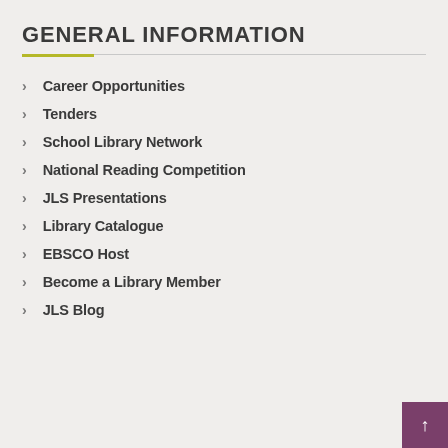GENERAL INFORMATION
Career Opportunities
Tenders
School Library Network
National Reading Competition
JLS Presentations
Library Catalogue
EBSCO Host
Become a Library Member
JLS Blog